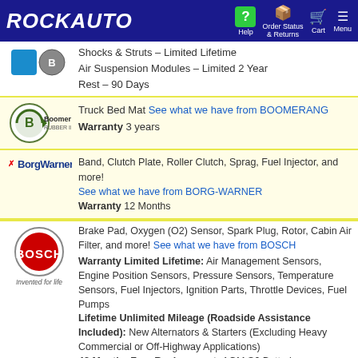ROCKAUTO — Help, Order Status & Returns, Cart, Menu
Shocks & Struts – Limited Lifetime
Air Suspension Modules – Limited 2 Year
Rest – 90 Days
[Figure (logo): Boomerang Rubber Inc. logo]
Truck Bed Mat See what we have from BOOMERANG
Warranty 3 years
[Figure (logo): BorgWarner logo]
Band, Clutch Plate, Roller Clutch, Sprag, Fuel Injector, and more! See what we have from BORG-WARNER
Warranty 12 Months
[Figure (logo): Bosch logo — Invented for life]
Brake Pad, Oxygen (O2) Sensor, Spark Plug, Rotor, Cabin Air Filter, and more! See what we have from BOSCH
Warranty Limited Lifetime: Air Management Sensors, Engine Position Sensors, Pressure Sensors, Temperature Sensors, Fuel Injectors, Ignition Parts, Throttle Devices, Fuel Pumps
Lifetime Unlimited Mileage (Roadside Assistance Included): New Alternators & Starters (Excluding Heavy Commercial or Off-Highway Applications)
48 Months Free Replacement: AGM S6 Batteries
24 Months: New Diesel Parts
24 Months Unlimited Mileage (Roadside Assistance Included): Reman Alternators & Starters
12 Months Satisfaction Guarantee: Double Iridium, Double Platinum, Platinum Spark Plugs
12 Months: Reman Diesel Parts, Light Bulbs, O2